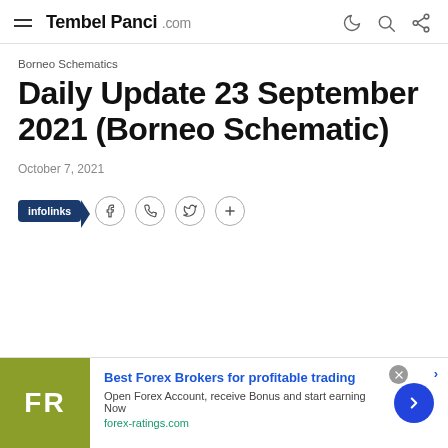Tembel Panci .com
Borneo Schematics
Daily Update 23 September 2021 (Borneo Schematic)
October 7, 2021
[Figure (other): Share bar with infolinks badge and social share icons (Facebook, phone/WhatsApp, Twitter, plus)]
[Figure (other): Advertisement banner for forex-ratings.com: Best Forex Brokers for profitable trading. Open Forex Account, receive Bonus and start earning Now. forex-ratings.com]